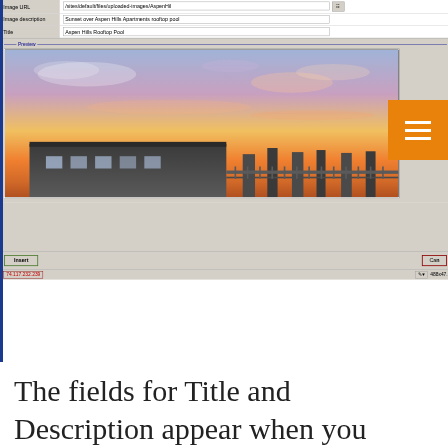[Figure (screenshot): CMS image dialog box showing fields for Image URL (/sites/default/files/uploaded-images/AspenHil...), Image description (Sunset over Aspen Hills Apartments rooftop pool), and Title (Aspen Hills Rooftop Pool), with a Preview section showing a sunset photo of Aspen Hills Apartments, Insert and Cancel buttons, and a status bar showing IP 74.117.232.239 and dimensions 488x47...]
The fields for Title and Description appear when you chose an image to load to the